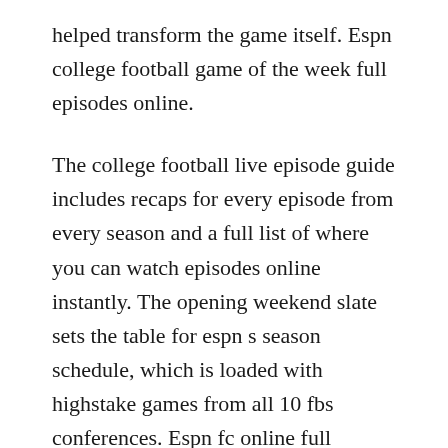helped transform the game itself. Espn college football game of the week full episodes online.
The college football live episode guide includes recaps for every episode from every season and a full list of where you can watch episodes online instantly. The opening weekend slate sets the table for espn s season schedule, which is loaded with highstake games from all 10 fbs conferences. Espn fc online full episodes of season 5 to 1 yidio. The documentary covers his career and